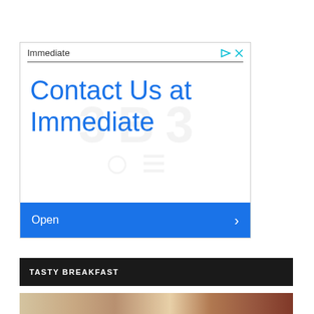[Figure (other): Advertisement banner for 'Immediate' service with blue text 'Contact Us at Immediate', a watermark background with letter/number shapes, and a blue 'Open' button with a right arrow chevron. Top bar shows 'Immediate' label with ad icon and close X button.]
TASTY BREAKFAST
[Figure (photo): Partial view of a food photo strip showing a tasty breakfast scene with colorful foods visible at the bottom edge.]